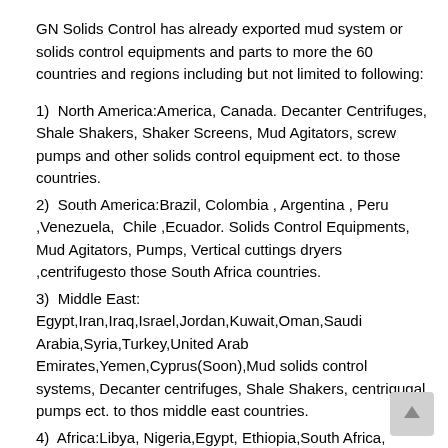GN Solids Control has already exported mud system or solids control equipments and parts to more the 60 countries and regions including but not limited to following:
1)  North America:America, Canada. Decanter Centrifuges, Shale Shakers, Shaker Screens, Mud Agitators, screw pumps and other solids control equipment ect. to those countries.
2)  South America:Brazil, Colombia , Argentina , Peru ,Venezuela,  Chile ,Ecuador. Solids Control Equipments, Mud Agitators, Pumps, Vertical cuttings dryers ,centrifugesto those South Africa countries.
3)  Middle East: Egypt,Iran,Iraq,Israel,Jordan,Kuwait,Oman,Saudi Arabia,Syria,Turkey,United Arab Emirates,Yemen,Cyprus(Soon),Mud solids control systems, Decanter centrifuges, Shale Shakers, centrigugal pumps ect. to thos middle east countries.
4)  Africa:Libya, Nigeria,Egypt, Ethiopia,South Africa, Algeria ,Sudan, Morocco, Tunisia ,Republic of the Congo etc. The Shale Shakers,Decanter Centrifuges for solids control & drilling waste management,shaker screens to those Africa countries.
5)  Australia,New Zealand,Papua New Guinea: Solids Control